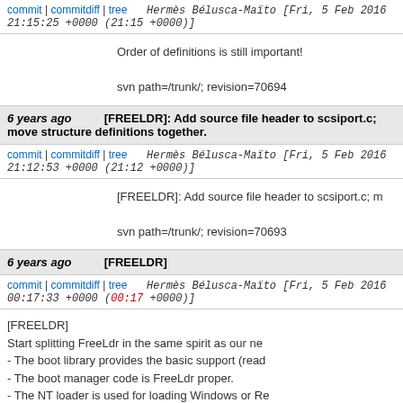commit | commitdiff | tree   Hermès Bélusca-Maïto [Fri, 5 Feb 2016 21:15:25 +0000 (21:15 +0000)]
Order of definitions is still important!

svn path=/trunk/; revision=70694
6 years ago   [FREELDR]: Add source file header to scsiport.c; move structure definitions together.
commit | commitdiff | tree   Hermès Bélusca-Maïto [Fri, 5 Feb 2016 21:12:53 +0000 (21:12 +0000)]
[FREELDR]: Add source file header to scsiport.c; m

svn path=/trunk/; revision=70693
6 years ago   [FREELDR]
commit | commitdiff | tree   Hermès Bélusca-Maïto [Fri, 5 Feb 2016 00:17:33 +0000 (00:17 +0000)]
[FREELDR]
Start splitting FreeLdr in the same spirit as our ne
- The boot library provides the basic support (read
- The boot manager code is FreeLdr proper.
- The NT loader is used for loading Windows or Re
type OSes (more exactly version 5.x), to which bo